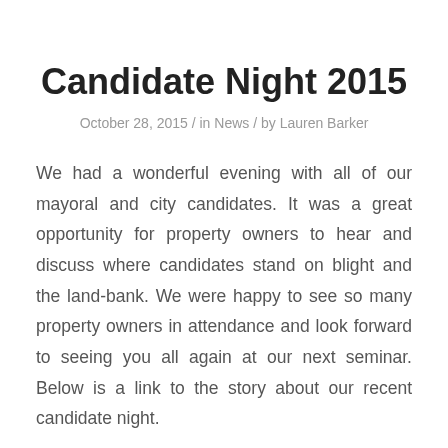Candidate Night 2015
October 28, 2015 / in News / by Lauren Barker
We had a wonderful evening with all of our mayoral and city candidates. It was a great opportunity for property owners to hear and discuss where candidates stand on blight and the land-bank. We were happy to see so many property owners in attendance and look forward to seeing you all again at our next seminar. Below is a link to the story about our recent candidate night.